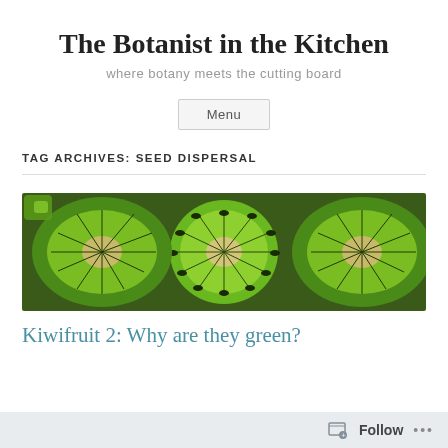The Botanist in the Kitchen
where botany meets the cutting board
Menu
TAG ARCHIVES: SEED DISPERSAL
[Figure (photo): Close-up photo of sliced kiwifruit showing green flesh and seeds arranged radially]
Kiwifruit 2: Why are they green?
Follow  •••